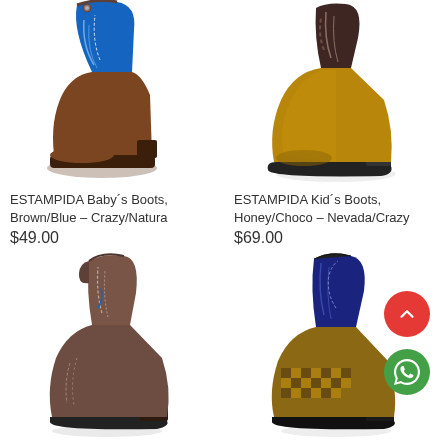[Figure (photo): Brown and blue cowboy boot for babies (ESTAMPIDA brand), brown leather lower with bright blue upper shaft]
ESTAMPIDA Baby´s Boots, Brown/Blue – Crazy/Natura
$49.00
[Figure (photo): Honey/chocolate colored cowboy boot for kids (ESTAMPIDA brand), tan/honey lower with dark brown upper shaft]
ESTAMPIDA Kid´s Boots, Honey/Choco – Nevada/Crazy
$69.00
[Figure (photo): Brown cowboy boot for kids, full brown leather with decorative stitching and blue accent]
[Figure (photo): Dark navy/brown cowboy boot with checkered pattern lower section and decorative stitching on shaft]